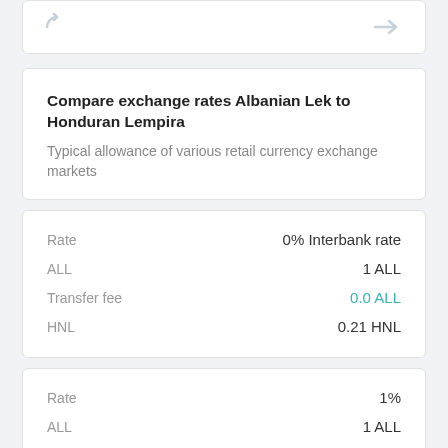[Figure (other): Partial top card with arrow icons visible at top of page]
Compare exchange rates Albanian Lek to Honduran Lempira
Typical allowance of various retail currency exchange markets
| Label | Value |
| --- | --- |
| Rate | 0% Interbank rate |
| ALL | 1 ALL |
| Transfer fee | 0.0 ALL |
| HNL | 0.21 HNL |
| Label | Value |
| --- | --- |
| Rate | 1% |
| ALL | 1 ALL |
| Transfer fee | 0.010 ALL |
| HNL | 0.21 HNL |